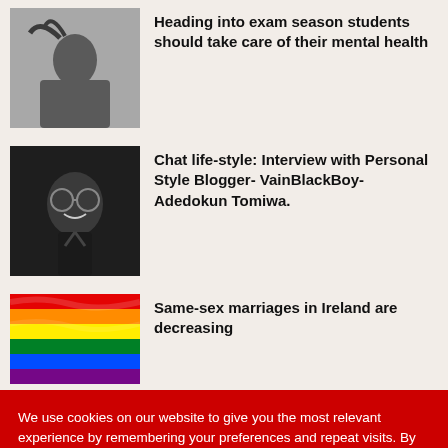[Figure (photo): Black and white silhouette of a person from behind with hair blowing]
Heading into exam season students should take care of their mental health
[Figure (photo): Black and white portrait of a man wearing glasses, smiling]
Chat life-style: Interview with Personal Style Blogger- VainBlackBoy- Adedokun Tomiwa.
[Figure (photo): Rainbow pride flag waving]
Same-sex marriages in Ireland are decreasing
We use cookies on our website to give you the most relevant experience by remembering your preferences and repeat visits. By clicking "Accept All", you consent to the use of ALL the cookies. However, you may visit "Cookie Settings" to provide a controlled consent.